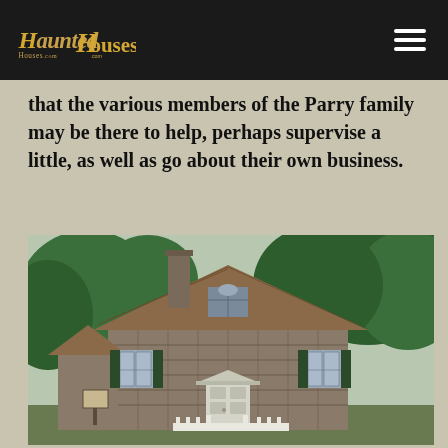HauntedHouses.com
that the various members of the Parry family may be there to help, perhaps supervise a little, as well as go about their own business.
[Figure (photo): Exterior photo of a historic stone house with a steep shingled roof, dormer window, green shutters, white front door with pediment, and surrounding large trees with lush green foliage.]